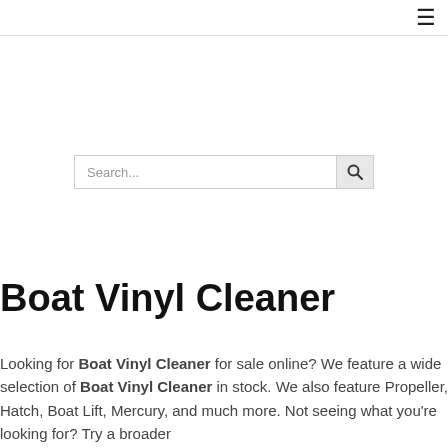≡
[Figure (other): Search bar with text input placeholder 'Search...' and a magnifying glass search button]
Boat Vinyl Cleaner
Looking for Boat Vinyl Cleaner for sale online? We feature a wide selection of Boat Vinyl Cleaner in stock. We also feature Propeller, Hatch, Boat Lift, Mercury, and much more. Not seeing what you're looking for? Try a broader search. Shop Boat Vinyl Cleaner and more.